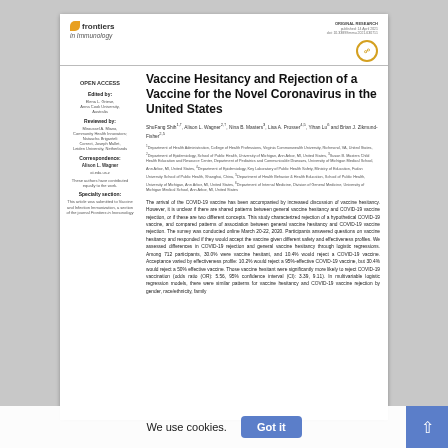frontiers in immunology | ORIGINAL RESEARCH
Vaccine Hesitancy and Rejection of a Vaccine for the Novel Coronavirus in the United States
ShuFang Shih, Alison L. Wagner, Nina B. Masters, Lisa A. Prosser, Yihan Lu and Brian J. Zikmund-Fisher
1 Department of Health Administration, College of Health Professions, Virginia Commonwealth University, Richmond, VA, United States, 2 Department of Epidemiology, School of Public Health, University of Michigan, Ann Arbor, MI, United States, 3 Susan B. Masters Child Health Education and Resource Center, Department of Pediatrics and Communicable Diseases, University of Michigan Medical School, Ann Arbor, MI, United States, 4 Department of Epidemiology, Key Laboratory of Public Health Safety, Ministry of Education, Fudan University School of Public Health, Shanghai, China, 5 Department of Health Behavior & Health Education, School of Public Health, University of Michigan, Ann Arbor, MI, United States, 6 Department of Internal Medicine, Division of General Medicine, University of Michigan Medical School, Ann Arbor, MI, United States
The arrival of the COVID-19 vaccine has been accompanied by increased discussion of vaccine hesitancy. However, it is unclear if there are shared patterns between general vaccine hesitancy and COVID-19 vaccine rejection, or if these are two different concepts. This study characterized rejection of a hypothetical COVID-19 vaccine, and compared patterns of association between general vaccine hesitancy and COVID-19 vaccine rejection. The survey was conducted online March 20-22, 2020. Participants answered questions on vaccine hesitancy and responded if they would accept the vaccine given different safety and effectiveness profiles. We assessed differences in COVID-19 rejection and general vaccine hesitancy through logistic regressions. Among 712 participants, 30.0% were vaccine hesitant, and 10.4% would reject a COVID-19 vaccine. Acceptance varied by effectiveness profile: 10.2% would reject a 95%-effective COVID-19 vaccine, but 30.4% would reject a 50% effective vaccine. Those vaccine hesitant were significantly more likely to reject COVID-19 vaccination (odds ratio (OR): 5.56, 95% confidence interval (CI): 3.39, 9.11). In multivariable logistic regression models, there were similar patterns for vaccine hesitancy and COVID-19 vaccine rejection by gender, race/ethnicity, family
OPEN ACCESS
Edited by: Elena L. Griese, Anna Cook University, Australia
Reviewed by: Miroussel A. Miano, Community Health Innovators; Natascha Briganteli Correct, Joseph Mallet, Leiden University, Netherlands
Correspondence: Alison L. Wagner: at.edu.us.z
These authors have contributed equally to the work.
Specialty section: This article was submitted to Vaccine and Infection Immunization, a section of the journal Frontiers in Immunology